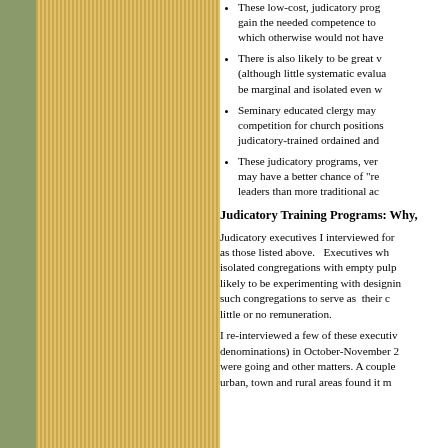These low-cost, judicatory programs may allow persons to gain the needed competence to serve in these communities, which otherwise would not have been possible.
There is also likely to be great value in these programs (although little systematic evaluation exists) for those who may be marginal and isolated even within their denomination.
Seminary educated clergy may object to the growing competition for church positions that comes from judicatory-trained ordained and licensed ministers.
These judicatory programs, very practically oriented, may have a better chance of "reaching" some of the leaders than more traditional academic programs.
Judicatory Training Programs: Why,
Judicatory executives I interviewed for this study expressed views as those listed above.    Executives who were concerned about isolated congregations with empty pulpits were more likely to be experimenting with designing local people in such congregations to serve as  their congregation's leader at little or no remuneration.
I re-interviewed a few of these executives (in several denominations) in October-November 2 to see how things were going and other matters. A couple of us bishops in urban, town and rural areas found it m